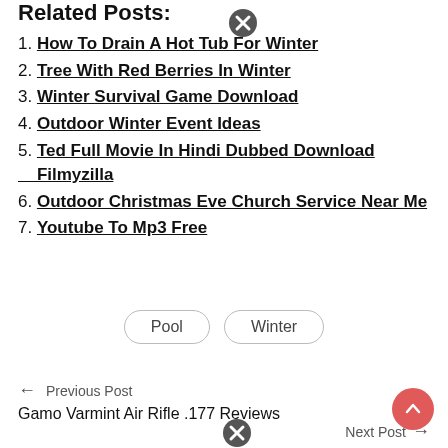Related Posts:
How To Drain A Hot Tub For Winter
Tree With Red Berries In Winter
Winter Survival Game Download
Outdoor Winter Event Ideas
Ted Full Movie In Hindi Dubbed Download Filmyzilla
Outdoor Christmas Eve Church Service Near Me
Youtube To Mp3 Free
Pool   Winter
← Previous Post
Gamo Varmint Air Rifle .177 Reviews
Next Post →